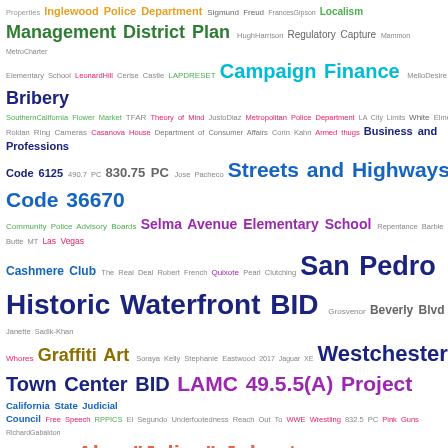[Figure (infographic): Word cloud featuring various terms related to Los Angeles government, public policy, and local topics. Terms appear in varying sizes and colors (green, purple, orange, blue, red, pink, teal, dark blue, salmon) indicating frequency or relevance. Largest terms include: San Pedro Historic Waterfront BID, Street Vending CD13, Management District Plan, Campaign Finance, Bribery, Graffiti Art, Westchester Town Center BID, LAMC 49.5.5(A) Project, Alan 'Jalian' Johnston, Hilda Rodriguez-Guzman, The Accelerated Schools, Ellen Salome Riotto, Venice Boardwalk, and others.]